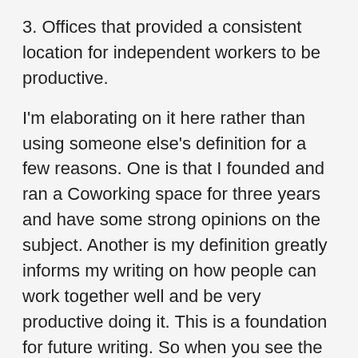3. Offices that provided a consistent location for independent workers to be productive.
I'm elaborating on it here rather than using someone else's definition for a few reasons. One is that I founded and ran a Coworking space for three years and have some strong opinions on the subject. Another is my definition greatly informs my writing on how people can work together well and be very productive doing it. This is a foundation for future writing. So when you see the word coworking I mean this definition. I will link to it for reference and context.
BTW – the word Coworking doesn't have a